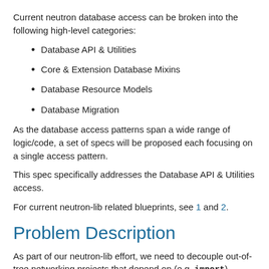Current neutron database access can be broken into the following high-level categories:
Database API & Utilities
Core & Extension Database Mixins
Database Resource Models
Database Migration
As the database access patterns span a wide range of logic/code, a set of specs will be proposed each focusing on a single access pattern.
This spec specifically addresses the Database API & Utilities access.
For current neutron-lib related blueprints, see 1 and 2.
Problem Description
As part of our neutron-lib effort, we need to decouple out-of-tree networking projects that depend on (e.g. import) neutron. However, today a large number of neutron consumers import database-related neutron modules 3,4,5. While some of those